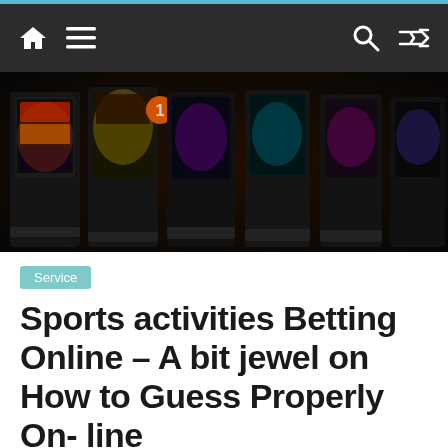Navigation bar with home, menu, search, and shuffle icons
[Figure (photo): Row of colorful casino slot machines in a dark room, showing illuminated screens with various game graphics.]
Service
Sports activities Betting Online – A bit jewel on How to Guess Properly On- line
Online, Slot
The on the Web Casino is one of the largest gaming played online over net in the comfort of